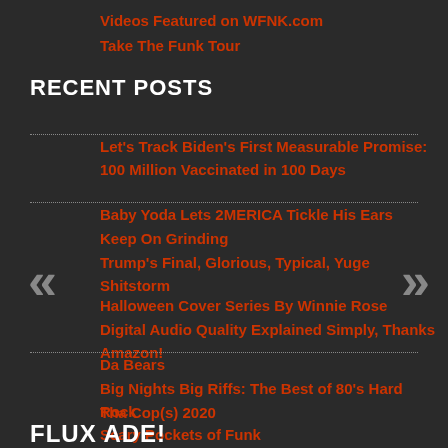Videos Featured on WFNK.com
Take The Funk Tour
RECENT POSTS
Let's Track Biden's First Measurable Promise: 100 Million Vaccinated in 100 Days
Baby Yoda Lets 2MERICA Tickle His Ears
Keep On Grinding
Trump's Final, Glorious, Typical, Yuge Shitstorm
Halloween Cover Series By Winnie Rose
Digital Audio Quality Explained Simply, Thanks Amazon!
Da Bears
Big Nights Big Riffs: The Best of 80's Hard Rock
Tha Cop(s) 2020
Scary Pockets of Funk
FLUX ADE!